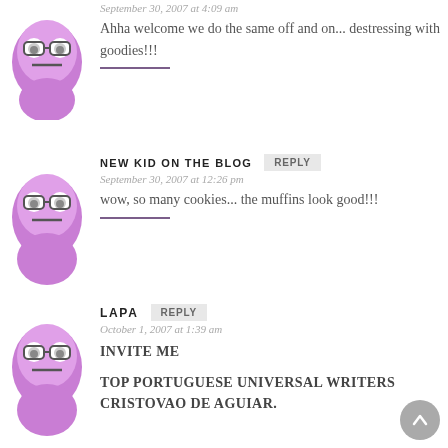September 30, 2007 at 4:09 am
Ahha welcome we do the same off and on... destressing with goodies!!!
NEW KID ON THE BLOG
September 30, 2007 at 12:26 pm
wow, so many cookies... the muffins look good!!!
LAPA
October 1, 2007 at 1:39 am
INVITE ME
TOP PORTUGUESE UNIVERSAL WRITERS CRISTOVAO DE AGUIAR.